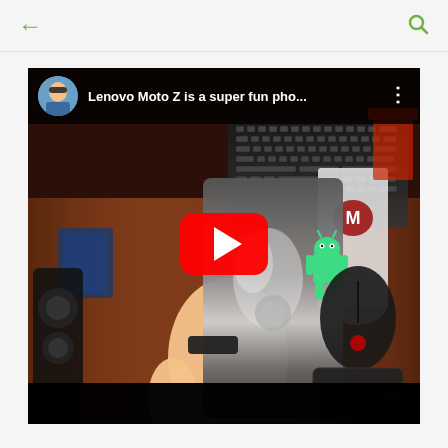← (back navigation) and search icon
[Figure (screenshot): YouTube video thumbnail showing a person holding a Lenovo Moto Z smartphone over a desk with keyboard, mouse, and Android figurine. The video title reads 'Lenovo Moto Z is a super fun pho...' with a channel avatar, three-dot menu, and a YouTube play button overlay in the center.]